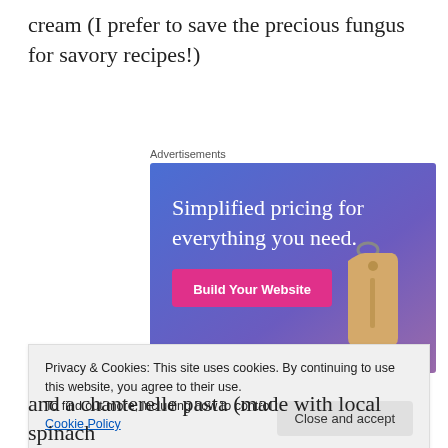cream (I prefer to save the precious fungus for savory recipes!)
Advertisements
[Figure (other): Advertisement banner with blue-to-purple gradient background, text 'Simplified pricing for everything you need.' in white, a pink 'Build Your Website' button, and a tan price tag graphic on the right side.]
Privacy & Cookies: This site uses cookies. By continuing to use this website, you agree to their use.
To find out more, including how to control cookies, see here: Cookie Policy
and a chanterelle pasta (made with local spinach